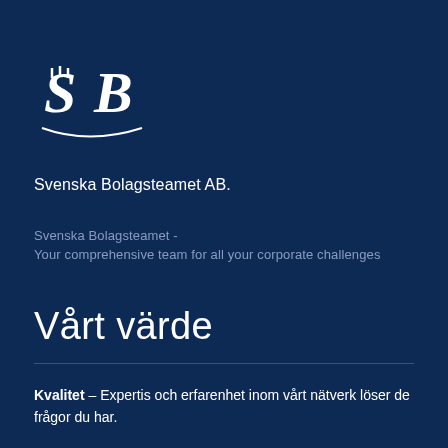[Figure (logo): Svenska Bolagsteamet AB stylized SB logo in white on dark navy background]
Svenska Bolagsteamet AB.
Svenska Bolagsteamet -
Your comprehensive team for all your corporate challenges
Vårt värde
Kvalitet – Expertis och erfarenhet inom vårt nätverk löser de frågor du har.